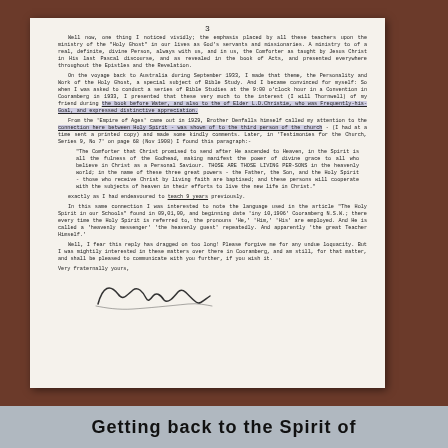3
Well now, one thing I noticed vividly; the emphasis placed by all these teachers upon the ministry of the 'Holy Ghost' in our lives as God's servants and missionaries. A ministry to of a real, definite, divine Person, always with us, and in us, the Comforter as taught by Jesus Christ in His last Pascal discourse, and as revealed in the book of Acts, and presented everywhere throughout the Epistles and the Revelation.
On the voyage back to Australia during September 1933, I made that theme, the Personality and Work of the Holy Ghost, a special subject of Bible Study. And I became convinced for myself: So when I was asked to conduct a series of Bible Studies at the 9:00 o'clock hour in a Convention in Cooramberg in 1933, I presented that these very much to the interest (I will Thornwell) of my friend during the book before Water, and also to the of Elder L.D.Christie, who was Frequently-his-Goal, and expressed distinctive appreciation.
From the 'Empire of Ages' came out in 1929, Brother Denfalls himself called my attention to the connection here between Holy Spirit - was shown of to the third person of the church - (I had at a time sent a printed copy) and made some kindly comments. Later, in 'Testimonies for the Church, Series 9, No 7' on page 68 (Nov 1908) I found this paragraph:-
"The Comforter that Christ promised to send after He ascended to Heaven, in the Spirit is all the fulness of the Godhead, making manifest the power of divine grace to all who believe in Christ as a Personal Saviour. THOSE ARE THOSE LIVING PER-SONS in the heavenly world; in the name of these three great powers - the Father, the Son, and the Holy Spirit - those who receive Christ by living faith are baptised; and these persons will cooperate with the subjects of heaven in their efforts to live the new life in Christ."
exactly as I had endeavoured to teach 9 years previously.
In this same connection I was interested to note the language used in the article 'The Holy Spirit in our Schools' found in 09,01,00, and beginning date 'iny 10,1906' Cooramberg N.S.W.; there every time the Holy Spirit is referred to, the pronouns 'He,' 'Him,' 'His' are employed. And He is called a 'heavenly messenger' 'the heavenly guest' repeatedly. And apparently 'the great Teacher Himself.'
Well, I fear this reply has dragged on too long! Please forgive me for any undue loquacity. But I was mightily interested in these matters over there in Cooramberg, and am still, for that matter, and shall be pleased to communicate with you further, if you wish it.
Very fraternally yours,
[Figure (illustration): Handwritten cursive signature]
Getting back to the Spirit of